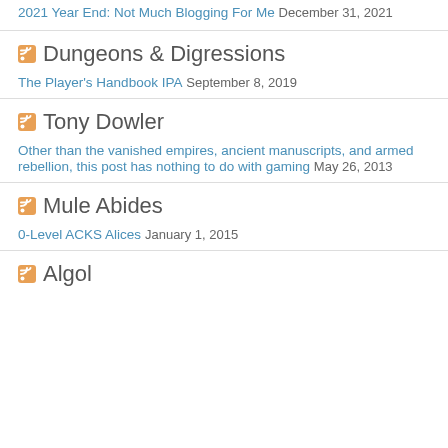2021 Year End: Not Much Blogging For Me  December 31, 2021
Dungeons & Digressions
The Player's Handbook IPA  September 8, 2019
Tony Dowler
Other than the vanished empires, ancient manuscripts, and armed rebellion, this post has nothing to do with gaming  May 26, 2013
Mule Abides
0-Level ACKS Alices  January 1, 2015
Algol